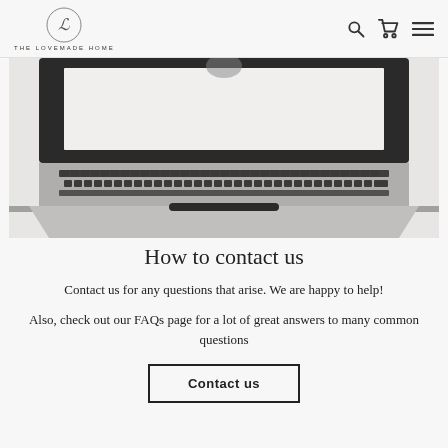THE LOVEMADE HOME
[Figure (photo): Top-down view of a laptop keyboard and screen on a light surface]
How to contact us
Contact us for any questions that arise. We are happy to help!
Also, check out our FAQs page for a lot of great answers to many common questions
Contact us